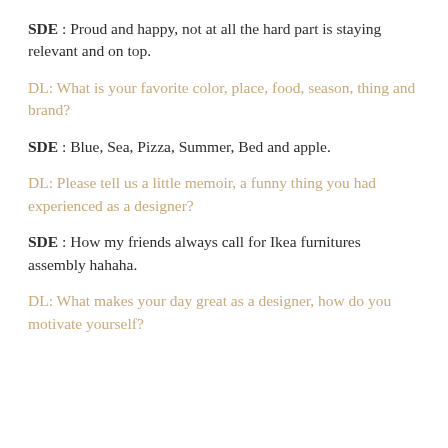SDE : Proud and happy, not at all the hard part is staying relevant and on top.
DL: What is your favorite color, place, food, season, thing and brand?
SDE : Blue, Sea, Pizza, Summer, Bed and apple.
DL: Please tell us a little memoir, a funny thing you had experienced as a designer?
SDE : How my friends always call for Ikea furnitures assembly hahaha.
DL: What makes your day great as a designer, how do you motivate yourself?